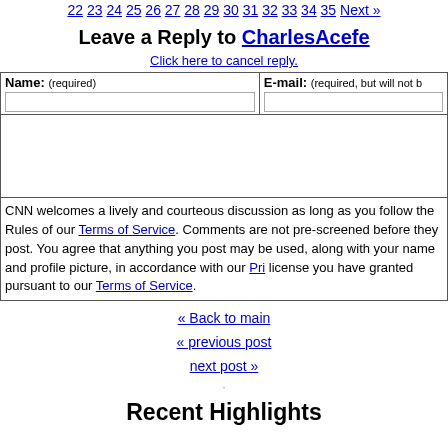22 23 24 25 26 27 28 29 30 31 32 33 34 35 Next »
Leave a Reply to CharlesAcefe
Click here to cancel reply.
| Name: (required) | E-mail: (required, but will not be published) |
| --- | --- |
|   |   |
CNN welcomes a lively and courteous discussion as long as you follow the Rules of our Terms of Service. Comments are not pre-screened before they post. You agree that anything you post may be used, along with your name and profile picture, in accordance with our Privacy Policy and the license you have granted pursuant to our Terms of Service.
« Back to main
« previous post
next post »
Recent Highlights